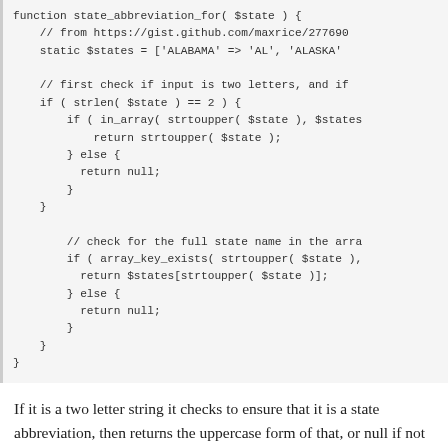[Figure (other): PHP code block showing function state_abbreviation_for with logic for checking two-letter state abbreviations and full state name lookups]
If it is a two letter string it checks to ensure that it is a state abbreviation, then returns the uppercase form of that, or null if not found in the array. If it is anything longer it checks to see if it is a key in the array, and